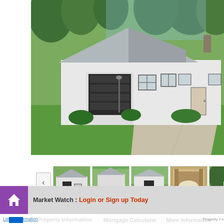[Figure (photo): Exterior photo of a white single-story house with grey roof, attached garage with dark garage door, gravel driveway, and green lawn surrounded by trees]
[Figure (photo): Row of thumbnail photos showing various views of the property: front exterior, side yard, front with driveway, interior garage, and backyard/trees]
Property Information | Mortgage Calculator | More Information
Market Watch : Login or Sign up Today